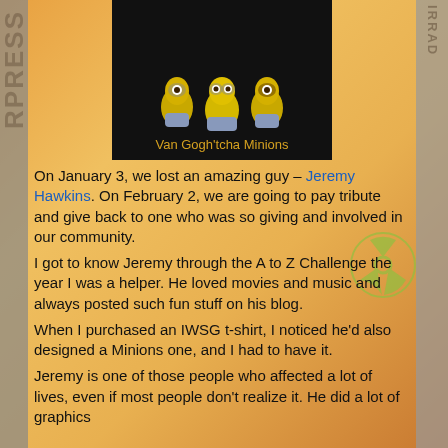[Figure (photo): Image of three Minion figures styled as Van Gogh paintings on a black background, with caption 'Van Gogh'tcha Minions']
On January 3, we lost an amazing guy – Jeremy Hawkins. On February 2, we are going to pay tribute and give back to one who was so giving and involved in our community.
I got to know Jeremy through the A to Z Challenge the year I was a helper. He loved movies and music and always posted such fun stuff on his blog.
When I purchased an IWSG t-shirt, I noticed he'd also designed a Minions one, and I had to have it.
Jeremy is one of those people who affected a lot of lives, even if most people don't realize it. He did a lot of graphics...